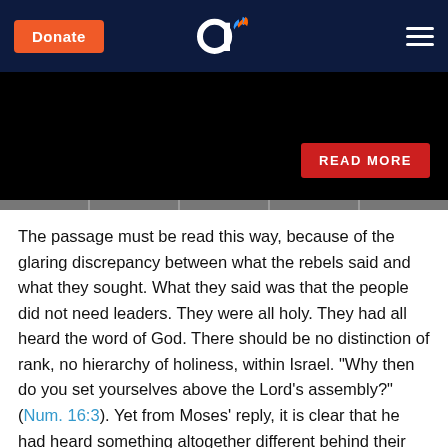Donate | Aish.com logo | Menu
[Figure (screenshot): Black video banner with a red READ MORE button in the bottom right corner]
The passage must be read this way, because of the glaring discrepancy between what the rebels said and what they sought. What they said was that the people did not need leaders. They were all holy. They had all heard the word of God. There should be no distinction of rank, no hierarchy of holiness, within Israel. "Why then do you set yourselves above the Lord's assembly?" (Num. 16:3). Yet from Moses' reply, it is clear that he had heard something altogether different behind their words: